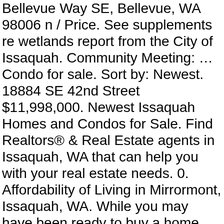Bellevue Way SE, Bellevue, WA 98006 n / Price. See supplements re wetlands report from the City of Issaquah. Community Meeting: … Condo for sale. Sort by: Newest. 18884 SE 42nd Street $11,998,000. Newest Issaquah Homes and Condos for Sale. Find Realtors® & Real Estate agents in Issaquah, WA that can help you with your real estate needs. 0. Affordability of Living in Mirrormont, Issaquah, WA. While you may have been ready to buy a home during the 2020 spring market, the uncertainties caused by the pandemic may have put a damper on your plans. Issaquah Medical Space For Sale. Size. Issaquah Listings Summary. Ad. Issaquah, WA. Price. Eastside Real Estate Blog; Issaquah Community Blog; Contact Us; Preparing for a 2021 Home Purchase. Issaquah Industrial Space For Sale. 9621 315th Avenue SE #20 $89900. Housing Cost VS National AVG. Click below to find current homes for sale in the area. Get the information you need including price & tax history, property details, home valuations and more. Average Taxes in Issaquah: $10,214 / County Average: $7,566. My website is the only one you'll need as you embark on your Issaquah Real Estate... located 1075 8th Ave SE, Issaquah...